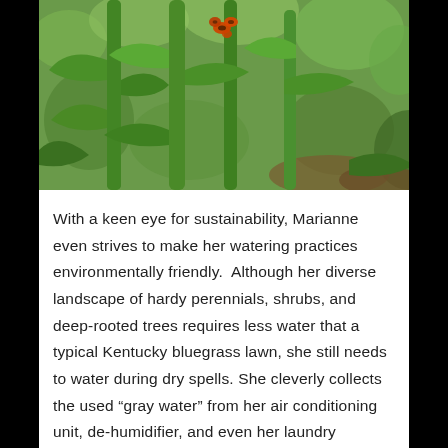[Figure (photo): Close-up photo of green plant stems and leaves with orange insects (likely milkweed bugs) clustered on the stems, with a blurred green garden background.]
With a keen eye for sustainability, Marianne even strives to make her watering practices environmentally friendly.  Although her diverse landscape of hardy perennials, shrubs, and deep-rooted trees requires less water that a typical Kentucky bluegrass lawn, she still needs to water during dry spells. She cleverly collects the used “gray water” from her air conditioning unit, de-humidifier, and even her laundry washing machine! She pumps this reusable water into